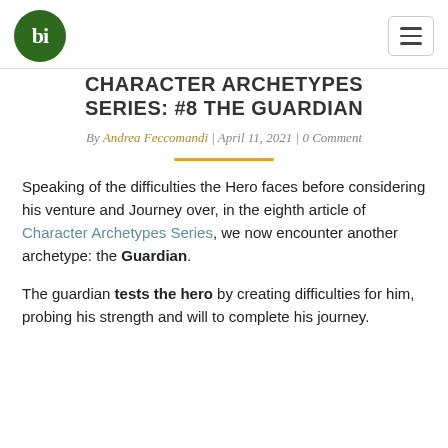bi [logo]
CHARACTER ARCHETYPES SERIES: #8 THE GUARDIAN
By Andrea Feccomandi | April 11, 2021 | 0 Comment
Speaking of the difficulties the Hero faces before considering his venture and Journey over, in the eighth article of Character Archetypes Series, we now encounter another archetype: the Guardian.
The guardian tests the hero by creating difficulties for him, probing his strength and will to complete his journey.